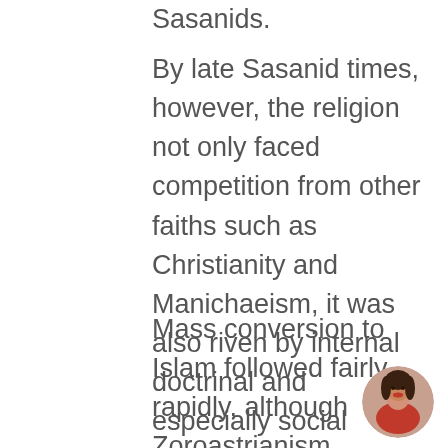Sasanids.
By late Sasanid times, however, the religion not only faced competition from other faiths such as Christianity and Manichaeism, it was also riven by internal doctrinal and especially social conflicts. The destruction of the Sasanid monarchy by the Arab conquests removed its chief prop of support.
Mass conversion to Islam followed fairly rapidly, although Zoroastrianism persisted in the countryside and certain areas for quite some time. In modern times, the cities of Yazd and Kermân have been the main bastions of the
[Figure (photo): Circular avatar photo of a young woman with dark hair, smiling, wearing a red top, shown in lower right corner]